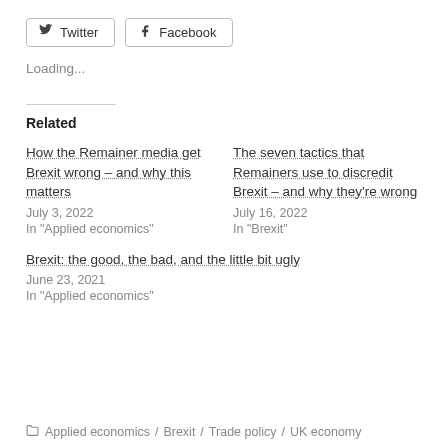Twitter
Facebook
Loading...
Related
How the Remainer media get Brexit wrong – and why this matters
July 3, 2022
In "Applied economics"
The seven tactics that Remainers use to discredit Brexit – and why they're wrong
July 16, 2022
In "Brexit"
Brexit: the good, the bad, and the little bit ugly
June 23, 2021
In "Applied economics"
Applied economics / Brexit / Trade policy / UK economy